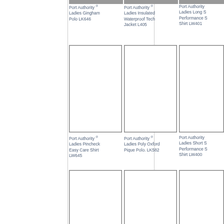[Figure (photo): Port Authority Ladies Gingham Polo LK646 - product photo]
Port Authority ® Ladies Gingham Polo LK646
[Figure (photo): Port Authority Ladies Insulated Waterproof Tech Jacket L405 - product photo]
Port Authority ® Ladies Insulated Waterproof Tech Jacket L405
[Figure (photo): Port Authority Ladies Long Sleeve Performance Shirt LW401 - product photo (partial)]
Port Authority ® Ladies Long Sleeve Performance Shirt LW401
[Figure (illustration): Port Authority Ladies Pincheck Easy Care Shirt LW645 - empty product image box]
Port Authority ® Ladies Pincheck Easy Care Shirt LW645
[Figure (illustration): Port Authority Ladies Poly Oxford Pique Polo LK582 - empty product image box]
Port Authority ® Ladies Poly Oxford Pique Polo. LK582
[Figure (illustration): Port Authority Ladies Short Sleeve Performance Shirt LW400 - empty product image box (partial)]
Port Authority ® Ladies Short Sleeve Performance Shirt LW400
[Figure (illustration): Product image box 1 - row 3, empty]
[Figure (illustration): Product image box 2 - row 3, empty]
[Figure (illustration): Product image box 3 - row 3, empty (partial)]